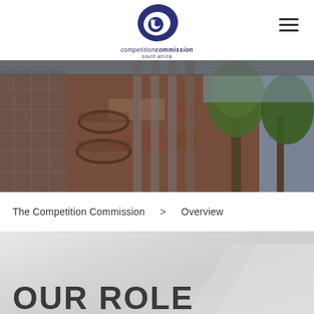[Figure (logo): Competition Commission South Africa logo — stylized blue eye/C mark above italic text 'competition commission' and 'south africa']
[Figure (photo): Exterior photograph of a multi-storey brick building with circular balconies, glass facades, metal columns, and trees on the right side — the Competition Commission offices]
The Competition Commission  >  Overview
OUR ROLE